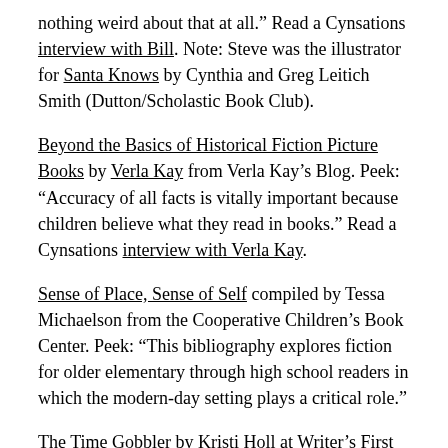nothing weird about that at all." Read a Cynsations interview with Bill. Note: Steve was the illustrator for Santa Knows by Cynthia and Greg Leitich Smith (Dutton/Scholastic Book Club).
Beyond the Basics of Historical Fiction Picture Books by Verla Kay from Verla Kay's Blog. Peek: "Accuracy of all facts is vitally important because children believe what they read in books." Read a Cynsations interview with Verla Kay.
Sense of Place, Sense of Self compiled by Tessa Michaelson from the Cooperative Children's Book Center. Peek: "This bibliography explores fiction for older elementary through high school readers in which the modern-day setting plays a critical role."
The Time Gobbler by Kristi Holl at Writer's First Aid. Peek: